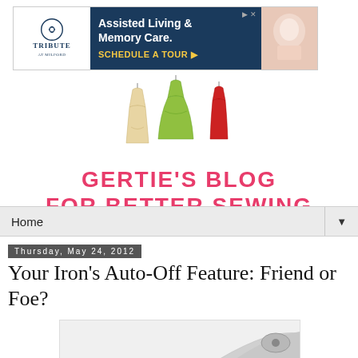[Figure (screenshot): Advertisement banner for Tribute at Milford: Assisted Living & Memory Care with Schedule a Tour CTA]
[Figure (illustration): Three illustrated dresses: a beige/cream fitted dress, a green full-skirted dress, and a red fitted dress on hangers]
GERTIE'S BLOG FOR BETTER SEWING
Home
Thursday, May 24, 2012
Your Iron's Auto-Off Feature: Friend or Foe?
[Figure (photo): Partial photo of an iron, visible at the bottom of the page]